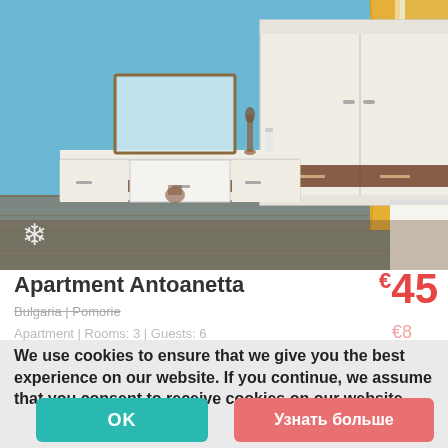[Figure (photo): Bedroom interior with blue walls, white wardrobe, white dressing table with drawers, wooden floor, yellow curtains, and a snowflake icon in the lower left corner.]
Apartment Antoanetta
€45
Bulgaria | Pomorie
Apartment | Rooms: 3 | Guests: 6
We use cookies to ensure that we give you the best experience on our website. If you continue, we assume that you consent to receive cookies on our website.
OK
Узнать больше